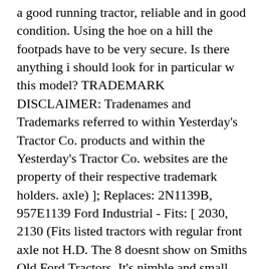a good running tractor, reliable and in good condition. Using the hoe on a hill the footpads have to be very secure. Is there anything i should look for in particular w this model? TRADEMARK DISCLAIMER: Tradenames and Trademarks referred to within Yesterday's Tractor Co. products and within the Yesterday's Tractor Co. websites are the property of their respective trademark holders. axle) ]; Replaces: 2N1139B, 957E1139 Ford Industrial - Fits: [ 2030, 2130 (Fits listed tractors with regular front axle not H.D. The 8 doesnt show on Smiths Old Ford Tractors. It's nimble and small enough to fit just about anywhere. Post numbers I have a 63 4000